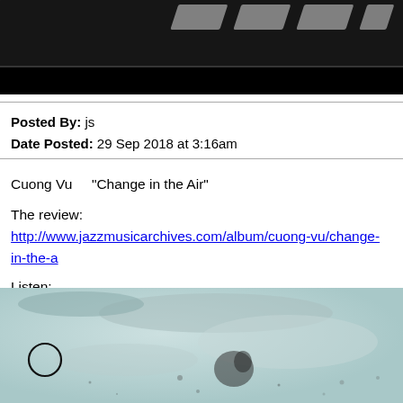[Figure (photo): Black and white header image showing railroad tracks or road with diagonal striped markings on dark background, with a solid black bar at the bottom.]
Posted By: js
Date Posted: 29 Sep 2018 at 3:16am
Cuong Vu    "Change in the Air"

The review:
http://www.jazzmusicarchives.com/album/cuong-vu/change-in-the-a

Listen:
https://www.youtube.com/watch?v=dNdRnTy0Umg&list=PLCjJ7AC
[Figure (photo): Light blue-gray watercolor or ink wash image with abstract shapes, a circular ring mark on the left side, and splattered ink marks.]